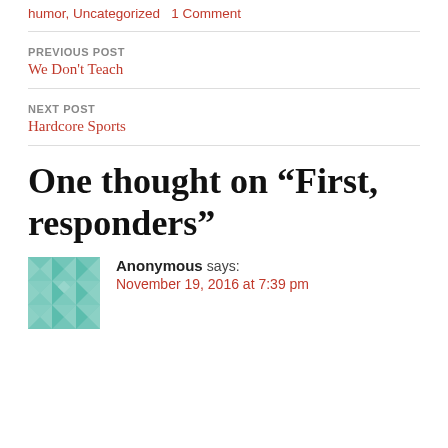humor, Uncategorized   1 Comment
PREVIOUS POST
We Don't Teach
NEXT POST
Hardcore Sports
One thought on “First, responders”
Anonymous says: November 19, 2016 at 7:39 pm